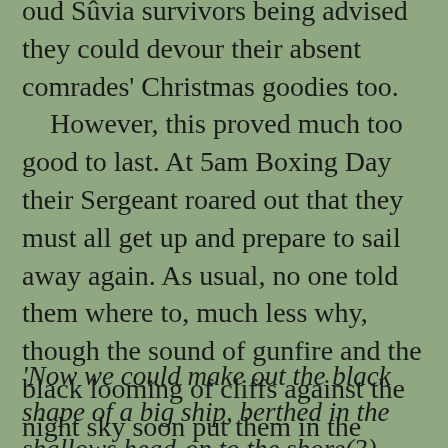oud Sûvia survivors being advised they could devour their absent comrades' Christmas goodies too. However, this proved much too good to last. At 5am Boxing Day their Sergeant roared out that they must all get up and prepare to sail away again. As usual, no one told them where to, much less why, though the sound of gunfire and the black looming of cliffs against the night sky soon put them in the picture…
'Now we could make out the black shape of a big ship, berthed in the shallows head-on to the shore(3). Moving closer, we saw a large, square